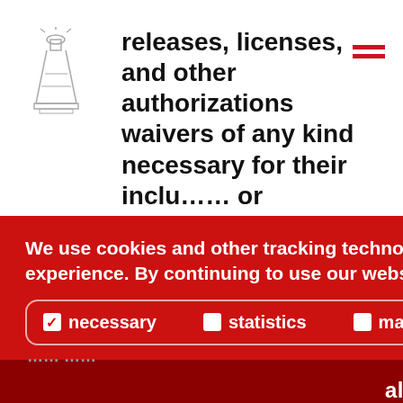[Figure (logo): Lighthouse/lantern logo in outline style]
releases, licenses, and other authorizations waivers of any kind necessary for their inclu…… or reproduction in the film. By submitting a film for Festival consideration, the submitter allows the promotion of the film on his/her behalf, the organization of multiple screenings, both open to
We use cookies and other tracking technologies to personalize and improve your experience. By continuing to use our website you consent to this.
necessary  statistics  marketing
allow all!
save  decline